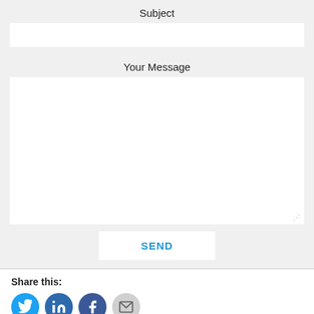Subject
Your Message
SEND
Share this:
[Figure (illustration): Social share icons: Twitter (blue circle), LinkedIn (dark blue circle), Facebook (dark blue circle), Email (gray circle)]